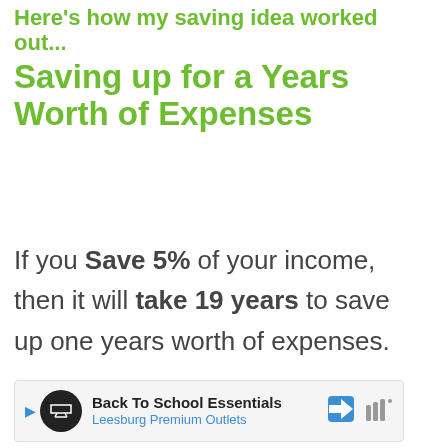Here's how my saving idea worked out... Saving up for a Years Worth of Expenses
If you Save 5% of your income, then it will take 19 years to save up one years worth of expenses.
ADVERTISEMENT
[Figure (other): Like button (heart icon, teal circle) with count 24 below, and a partial share/navigation overlay card in the bottom right corner showing a thumbnail image with text 'Have Norma...' and share/arrow icons.]
[Figure (other): Advertisement banner at bottom: Back To School Essentials, Leesburg Premium Outlets, with play button, circular logo, navigation diamond icon, and audio/signal bars icon.]